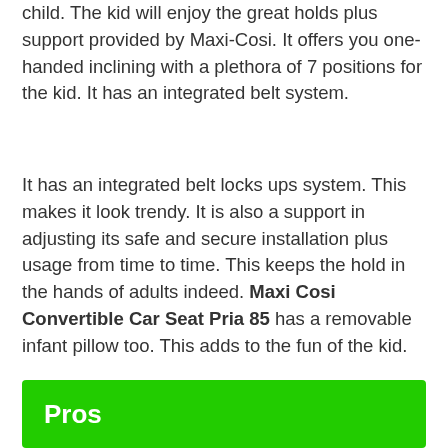child. The kid will enjoy the great holds plus support provided by Maxi-Cosi. It offers you one-handed inclining with a plethora of 7 positions for the kid. It has an integrated belt system.
It has an integrated belt locks ups system. This makes it look trendy. It is also a support in adjusting its safe and secure installation plus usage from time to time. This keeps the hold in the hands of adults indeed. Maxi Cosi Convertible Car Seat Pria 85 has a removable infant pillow too. This adds to the fun of the kid.
Pros